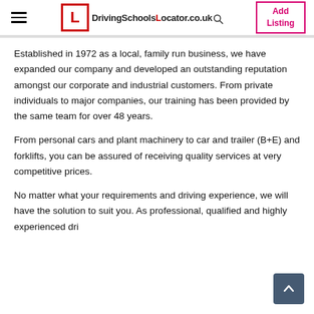DrivingSchoolsLocator.co.uk | Add Listing
Established in 1972 as a local, family run business, we have expanded our company and developed an outstanding reputation amongst our corporate and industrial customers. From private individuals to major companies, our training has been provided by the same team for over 48 years.
From personal cars and plant machinery to car and trailer (B+E) and forklifts, you can be assured of receiving quality services at very competitive prices.
No matter what your requirements and driving experience, we will have the solution to suit you. As professional, qualified and highly experienced dri...